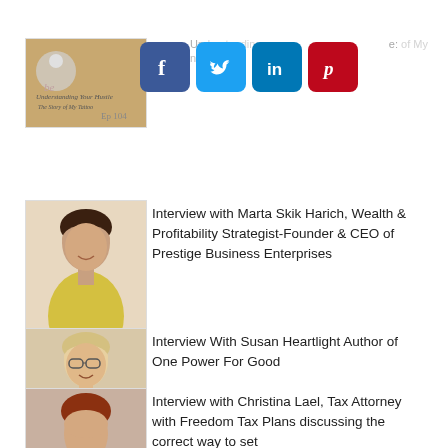[Figure (screenshot): Social media share buttons: Facebook, Twitter, LinkedIn, Pinterest overlaid on a partial webpage view with blurred text 'Understanding... The Story of My Tattoo']
[Figure (photo): Thumbnail image of a podcast/article: Understanding Your Hustle - The Story of My Tattoo, Ep 104]
Interview with Marta Skik Harich, Wealth & Profitability Strategist-Founder & CEO of Prestige Business Enterprises
[Figure (photo): Photo of a woman with dark hair in a yellow top, smiling]
Interview With Susan Heartlight Author of One Power For Good
[Figure (photo): Photo of a woman with glasses and light hair, smiling]
Interview with Christina Lael, Tax Attorney with Freedom Tax Plans discussing the correct way to set